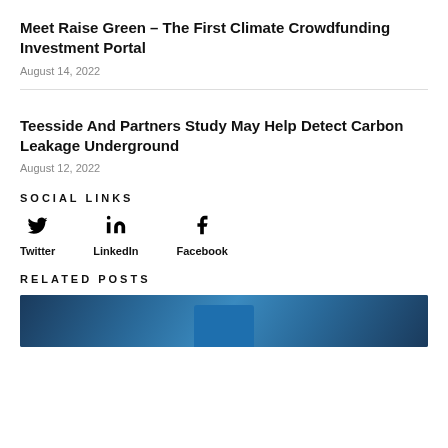Meet Raise Green – The First Climate Crowdfunding Investment Portal
August 14, 2022
Teesside And Partners Study May Help Detect Carbon Leakage Underground
August 12, 2022
SOCIAL LINKS
Twitter
LinkedIn
Facebook
RELATED POSTS
[Figure (photo): Partial photo visible at the bottom of the page, showing a blue object against a blurred dark/green background]